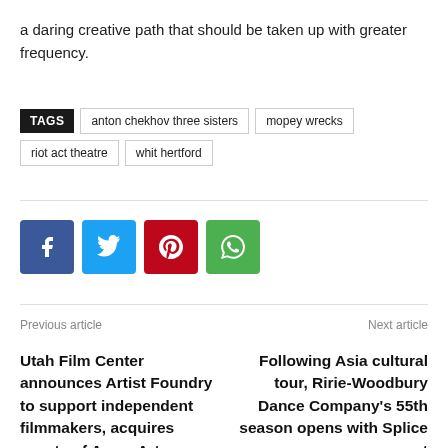a daring creative path that should be taken up with greater frequency.
TAGS  anton chekhov three sisters  mopey wrecks  riot act theatre  whit hertford
[Figure (other): Social share buttons: Facebook (blue), Twitter (light blue), Pinterest (red), WhatsApp (green)]
Previous article
Next article
Utah Film Center announces Artist Foundry to support independent filmmakers, acquires assets of Avrec Art
Following Asia cultural tour, Ririe-Woodbury Dance Company's 55th season opens with Splice concert